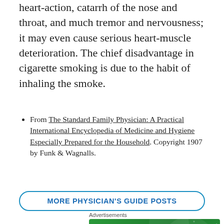heart-action, catarrh of the nose and throat, and much tremor and nervousness; it may even cause serious heart-muscle deterioration. The chief disadvantage in cigarette smoking is due to the habit of inhaling the smoke.
From The Standard Family Physician: A Practical International Encyclopedia of Medicine and Hygiene Especially Prepared for the Household. Copyright 1907 by Funk & Wagnalls.
MORE PHYSICIAN'S GUIDE POSTS
[Figure (other): Jetpack advertisement banner with green background showing Jetpack logo and text 'The best real-time']